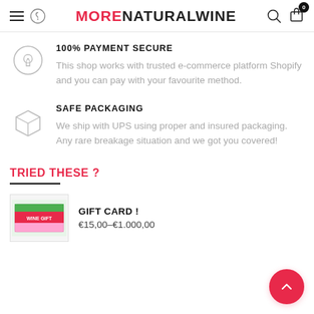MORENATURALWINE
100% PAYMENT SECURE
This shop works with trusted e-commerce platform Shopify and you can pay with your favourite method.
SAFE PACKAGING
We ship with UPS using proper and insured packaging. Any rare breakage situation and we got you covered!
TRIED THESE ?
GIFT CARD !
€15,00–€1.000,00